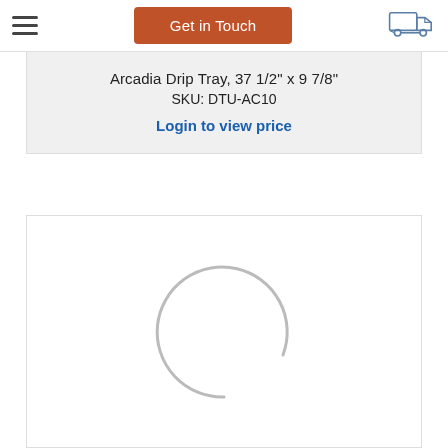Get in Touch
Arcadia Drip Tray, 37 1/2" x 9 7/8"
SKU: DTU-AC10
Login to view price
[Figure (other): Loading spinner (partial circle arc) indicating image is loading]